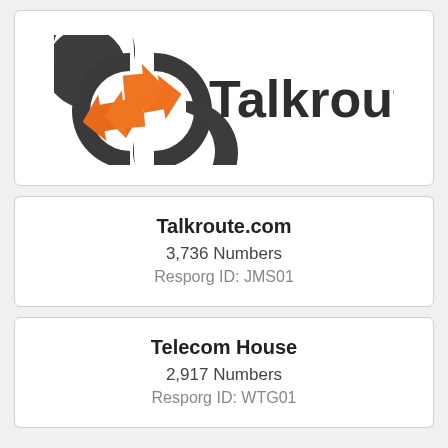[Figure (logo): Talkroute logo: two interlocking chat-bubble arrows in dark gray and orange, with the word 'Talkroute' in dark gray bold text to the right]
Talkroute.com
3,736 Numbers
Resporg ID: JMS01
Telecom House
2,917 Numbers
Resporg ID: WTG01